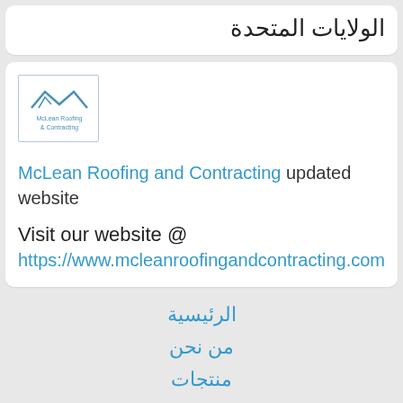الولايات المتحدة
[Figure (logo): McLean Roofing & Contracting company logo with roof outline graphic]
McLean Roofing and Contracting updated website
Visit our website @ https://www.mcleanroofingandcontracting.com
الرئيسية
من نحن
منتجات